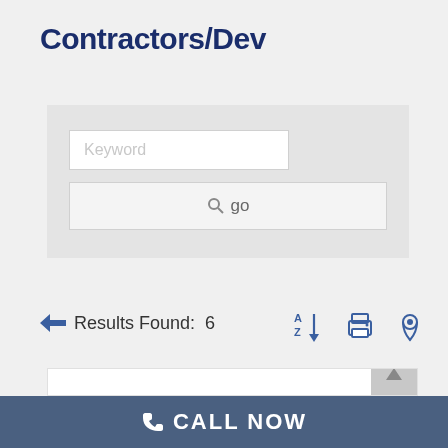Contractors/Dev
[Figure (screenshot): Search interface with a keyword input field and a 'go' search button, inside a light grey search panel]
Results Found:  6
[Figure (infographic): Toolbar icons: A-Z sort, print, and map pin/location icons]
[Figure (screenshot): Partial white result card at the bottom of the page]
CALL NOW